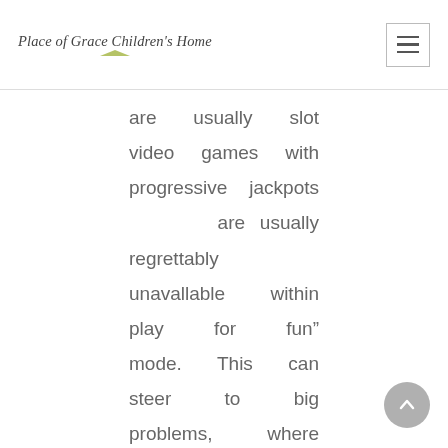Place of Grace Children's Home
are usually slot video games with progressive jackpots are usually regrettably unavallable within play for fun” mode. This can steer to big problems, where people are spending much money and too